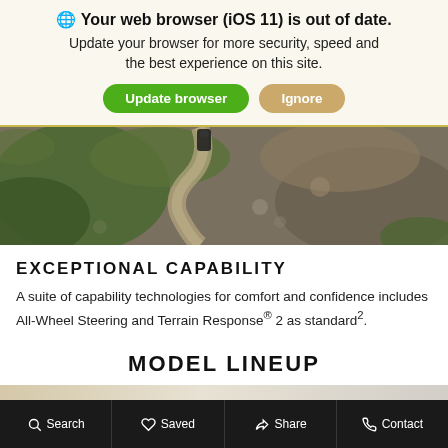🌐 Your web browser (iOS 11) is out of date. Update your browser for more security, speed and the best experience on this site.
Update browser | Ignore
[Figure (photo): Aerial view of a vehicle on a winding dirt trail through rough terrain with green vegetation and exposed earth.]
EXCEPTIONAL CAPABILITY
A suite of capability technologies for comfort and confidence includes All-Wheel Steering and Terrain Response® 2 as standard2.
MODEL LINEUP
[Figure (photo): Partial view of a model lineup image strip with beige/cream gradient background.]
Search   Saved   Share   Contact